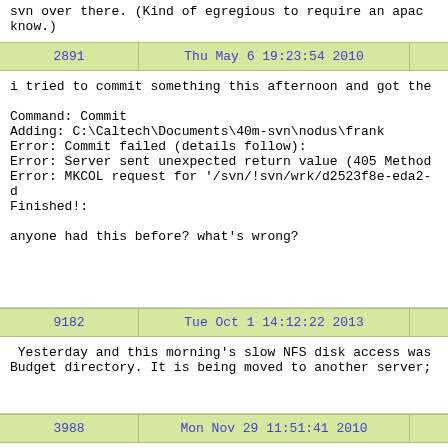svn over there. (Kind of egregious to require an apache know.)
| 2891 | Thu May 6 19:23:54 2010 |  |
| --- | --- | --- |
i tried to commit something this afternoon and got the

Command: Commit
Adding: C:\Caltech\Documents\40m-svn\nodus\frank
Error: Commit failed (details follow):
Error: Server sent unexpected return value (405 Method
Error: MKCOL request for '/svn/!svn/wrk/d2523f8e-eda2-d
Finished!:

anyone had this before? what's wrong?
| 9182 | Tue Oct 1 14:12:22 2013 |  |
| --- | --- | --- |
Yesterday and this morning's slow NFS disk access was
Budget directory. It is being moved to another server;
| 3988 | Mon Nov 29 11:51:41 2010 |  |
| --- | --- | --- |
This morning I opened the chambers and started
As explained in this entry, I swapped pzt mirror (A) an
The chambers are still open, so don't be sur